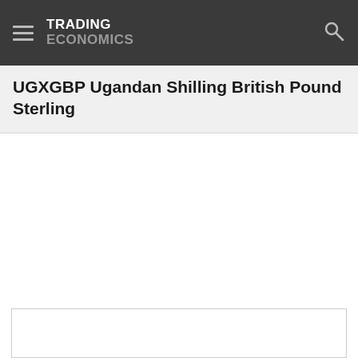TRADING ECONOMICS
UGXGBP Ugandan Shilling British Pound Sterling